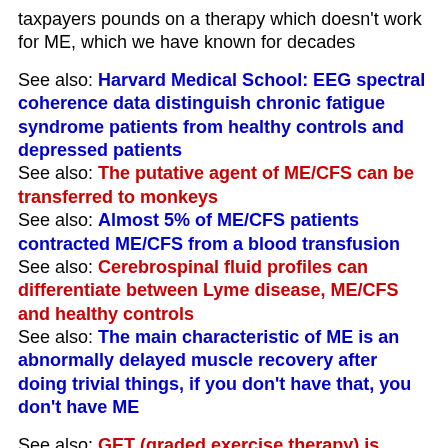taxpayers pounds on a therapy which doesn't work for ME, which we have known for decades
See also: Harvard Medical School: EEG spectral coherence data distinguish chronic fatigue syndrome patients from healthy controls and depressed patients
See also: The putative agent of ME/CFS can be transferred to monkeys
See also: Almost 5% of ME/CFS patients contracted ME/CFS from a blood transfusion
See also: Cerebrospinal fluid profiles can differentiate between Lyme disease, ME/CFS and healthy controls
See also: The main characteristic of ME is an abnormally delayed muscle recovery after doing trivial things, if you don't have that, you don't have ME
See also: GET (graded exercise therapy) is torture for ME patients and directly contravenes the do NO Harm principle of the GMC
See also: Harvard Medical School: EEG spectral coherence data distinguish chronic fatigue syndrome patients from healthy controls and depressed patients